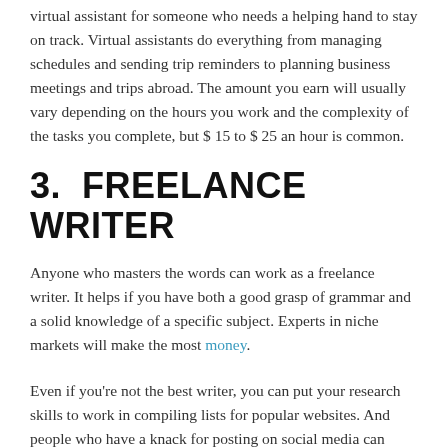virtual assistant for someone who needs a helping hand to stay on track. Virtual assistants do everything from managing schedules and sending trip reminders to planning business meetings and trips abroad. The amount you earn will usually vary depending on the hours you work and the complexity of the tasks you complete, but $ 15 to $ 25 an hour is common.
3. FREELANCE WRITER
Anyone who masters the words can work as a freelance writer. It helps if you have both a good grasp of grammar and a solid knowledge of a specific subject. Experts in niche markets will make the most money.
Even if you're not the best writer, you can put your research skills to work in compiling lists for popular websites. And people who have a knack for posting on social media can